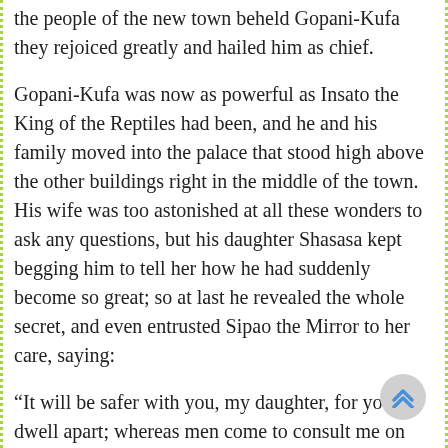the people of the new town beheld Gopani-Kufa they rejoiced greatly and hailed him as chief.
Gopani-Kufa was now as powerful as Insato the King of the Reptiles had been, and he and his family moved into the palace that stood high above the other buildings right in the middle of the town. His wife was too astonished at all these wonders to ask any questions, but his daughter Shasasa kept begging him to tell her how he had suddenly become so great; so at last he revealed the whole secret, and even entrusted Sipao the Mirror to her care, saying:
“It will be safer with you, my daughter, for you dwell apart; whereas men come to consult me on affairs of state, and the Mirror might be stolen.”
Then Shasasa took the Magic Mirror and hid it ben her pillow, and after that for many years Gopani-Kufa